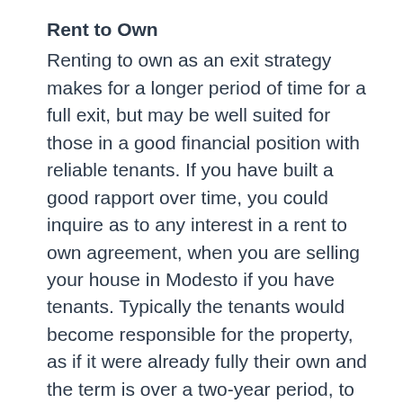Rent to Own
Renting to own as an exit strategy makes for a longer period of time for a full exit, but may be well suited for those in a good financial position with reliable tenants. If you have built a good rapport over time, you could inquire as to any interest in a rent to own agreement, when you are selling your house in Modesto if you have tenants. Typically the tenants would become responsible for the property, as if it were already fully their own and the term is over a two-year period, to allow time for correcting any credit issues. A down payment is typically made and because you are working with them, you may be able to set a higher price. Regrettably, higher profits come along with higher risks. One of which is common to most rent to own agreements, the tenant may decide at the end of the term not